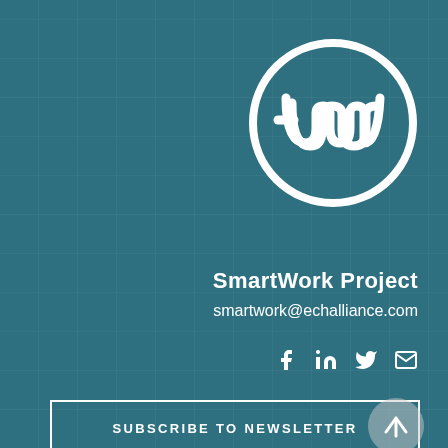[Figure (logo): SmartWork/ECHAlliance circular logo with white ring and stylized W letter mark on teal background]
SmartWork Project
smartwork@echalliance.com
[Figure (other): Social media icons: Facebook, LinkedIn, Twitter, Email]
SUBSCRIBE TO NEWSLETTER
Privacy Policy statement and Cookies